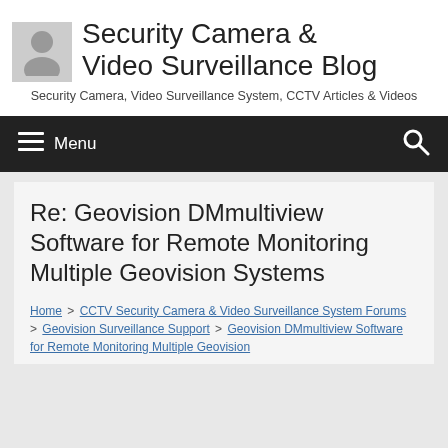[Figure (logo): Grey silhouette avatar icon placeholder]
Security Camera & Video Surveillance Blog
Security Camera, Video Surveillance System, CCTV Articles & Videos
Menu
Re: Geovision DMmultiview Software for Remote Monitoring Multiple Geovision Systems
Home > CCTV Security Camera & Video Surveillance System Forums > Geovision Surveillance Support > Geovision DMmultiview Software for Remote Monitoring Multiple Geovision